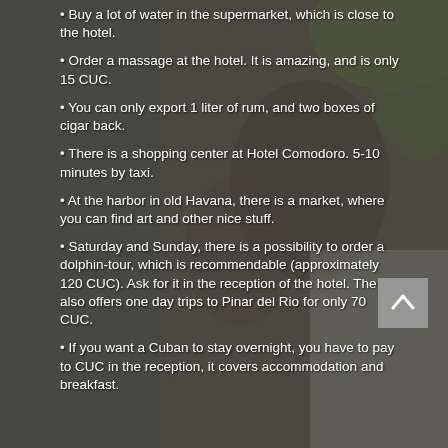Buy a lot of water in the supermarket, which is close to the hotel.
Order a massage at the hotel. It is amazing, and is only 15 CUC.
You can only export 1 liter of rum, and two boxes of cigar back.
There is a shopping center at Hotel Comodoro. 5-10 minutes by taxi.
At the harbor in old Havana, there is a market, where you can find art and other nice stuff.
Saturday and Sunday, there is a possibility to order a dolphin-tour, which is recommendable (approximately 120 CUC). Ask for it in the reception of the hotel. The also offers one day trips to Pinar del Rio for only 70 CUC.
If you want a Cuban to stay overnight, you have to pay to CUC in the reception, it covers accommodation and breakfast.